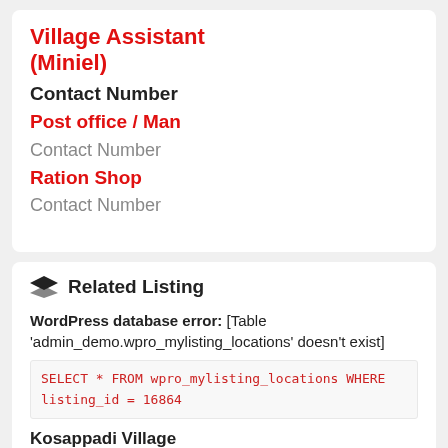Village Assistant (Miniel)
Contact Number
Post office / Man
Contact Number
Ration Shop
Contact Number
Related Listing
WordPress database error: [Table 'admin_demo.wpro_mylisting_locations' doesn't exist]
SELECT * FROM wpro_mylisting_locations WHERE listing_id = 16864
Kosappadi Village